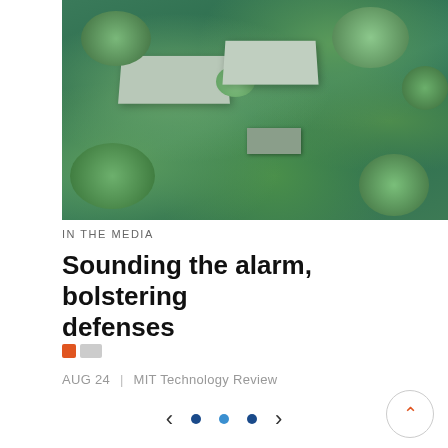[Figure (photo): Aerial view of flooded property with buildings and trees surrounded by green floodwater]
IN THE MEDIA
Sounding the alarm, bolstering defenses
AUG 24  |  MIT Technology Review